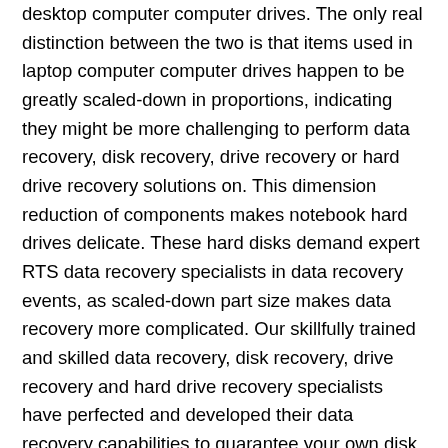desktop computer computer drives. The only real distinction between the two is that items used in laptop computer computer drives happen to be greatly scaled-down in proportions, indicating they might be more challenging to perform data recovery, disk recovery, drive recovery or hard drive recovery solutions on. This dimension reduction of components makes notebook hard drives delicate. These hard disks demand expert RTS data recovery specialists in data recovery events, as scaled-down part size makes data recovery more complicated. Our skillfully trained and skilled data recovery, disk recovery, drive recovery and hard drive recovery specialists have perfected and developed their data recovery capabilities to guarantee your own disk drive is provided with the very best solutions inside Red Rock Corner, Maine! The price of RTS Data Recovery storage retrieval with regard to laptop disk drives is definitely identical to desktop hard drive. RTS Data Recovery of Red Rock Corner, Maine presents laptop data recovery, disk